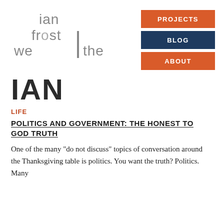[Figure (logo): Ian Frost We gather Together logo — stylized text with overlapping letters forming 'ian frost we | ther' with a geometric design]
[Figure (infographic): Navigation buttons: PROJECTS (orange), BLOG (dark navy), ABOUT (orange)]
IAN
LIFE
POLITICS AND GOVERNMENT: THE HONEST TO GOD TRUTH
One of the many "do not discuss" topics of conversation around the Thanksgiving table is politics. You want the truth? Politics. Many